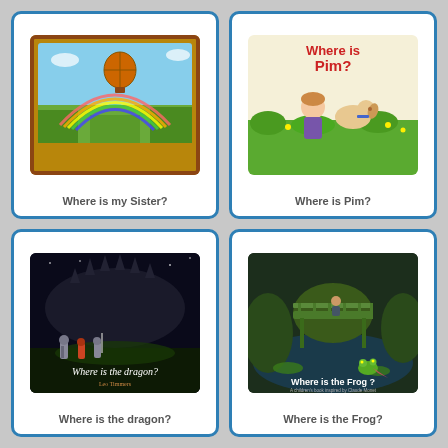[Figure (illustration): Book cover for 'Where is my Sister?' showing a hot air balloon over a colorful countryside with a rainbow]
Where is my Sister?
[Figure (illustration): Book cover for 'Where is Pim?' showing a child and a dog in a garden with the title in red and blue text]
Where is Pim?
[Figure (illustration): Book cover for 'Where is the dragon?' by Leo Timmers showing toy knights facing a large dragon silhouette at night]
Where is the dragon?
[Figure (illustration): Book cover for 'Where is the Frog?' showing a moody garden pond scene with a bridge and a frog, inspired by Claude Monet]
Where is the Frog?